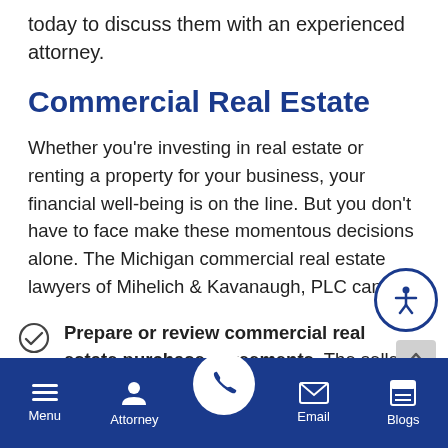today to discuss them with an experienced attorney.
Commercial Real Estate
Whether you’re investing in real estate or renting a property for your business, your financial well-being is on the line. But you don’t have to face make these momentous decisions alone. The Michigan commercial real estate lawyers of Mihelich & Kavanaugh, PLC can:
Prepare or review commercial real estate purchase agreements. The seller of a pie… of commercial real estate property is
Menu  Attorney  Email  Blogs